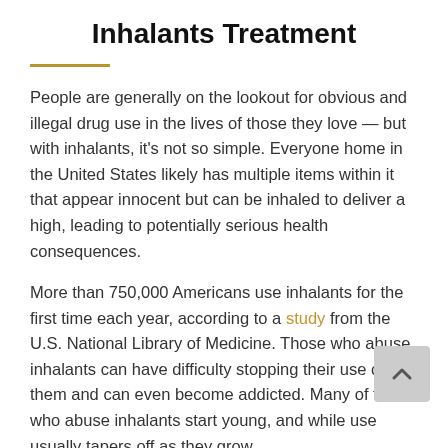Inhalants Treatment
People are generally on the lookout for obvious and illegal drug use in the lives of those they love — but with inhalants, it’s not so simple. Everyone home in the United States likely has multiple items within it that appear innocent but can be inhaled to deliver a high, leading to potentially serious health consequences.
More than 750,000 Americans use inhalants for the first time each year, according to a study from the U.S. National Library of Medicine. Those who abuse inhalants can have difficulty stopping their use of them and can even become addicted. Many of those who abuse inhalants start young, and while use usually tapers off as they grow